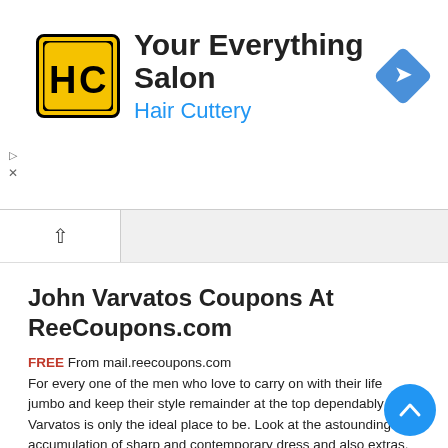[Figure (logo): Hair Cuttery advertisement banner with HC logo in yellow square, title 'Your Everything Salon', subtitle 'Hair Cuttery' in blue, and a blue navigation/directions diamond icon on the right]
John Varvatos Coupons At ReeCoupons.com
FREE From mail.reecoupons.com For every one of the men who love to carry on with their life jumbo and keep their style remainder at the top dependably John Varvatos is only the ideal place to be. Look at the astounding accumulation of sharp and contemporary dress and also extras. ReeCoupons.com offers John Varvatos Coupons, Coupon Codes, Promo Codes & Discount Codes at a low cost. ...